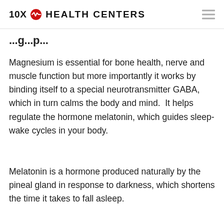10X HEALTH CENTERS
...g...p...
Magnesium is essential for bone health, nerve and muscle function but more importantly it works by binding itself to a special neurotransmitter GABA, which in turn calms the body and mind.  It helps regulate the hormone melatonin, which guides sleep-wake cycles in your body.
Melatonin is a hormone produced naturally by the pineal gland in response to darkness, which shortens the time it takes to fall asleep.